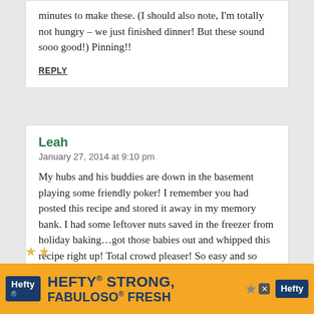minutes to make these. (I should also note, I'm totally not hungry – we just finished dinner! But these sound sooo good!) Pinning!!
REPLY
Leah
January 27, 2014 at 9:10 pm
My hubs and his buddies are down in the basement playing some friendly poker! I remember you had posted this recipe and stored it away in my memory bank. I had some leftover nuts saved in the freezer from holiday baking…got those babies out and whipped this recipe right up! Total crowd pleaser! So easy and so tasty. The honey makes for a unique can
[Figure (infographic): Hefty advertisement banner: orange background with Hefty logo, text 'HEFTY STRONG, FABULOSO FRESH', Fabuloso branding, and product imagery]